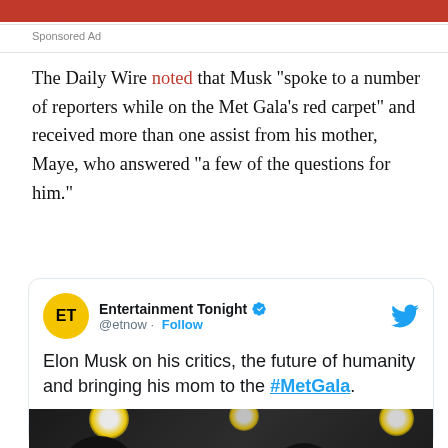182,543
Sponsored Ad
The Daily Wire noted that Musk “spoke to a number of reporters while on the Met Gala’s red carpet” and received more than one assist from his mother, Maye, who answered “a few of the questions for him.”
[Figure (screenshot): Embedded tweet from Entertainment Tonight (@etnow) with verified badge and Follow button. Tweet text: Elon Musk on his critics, the future of humanity and bringing his mom to the #MetGala. Includes a video thumbnail with a 'Watch on Twitter' button showing two people with stage lights in the background.]